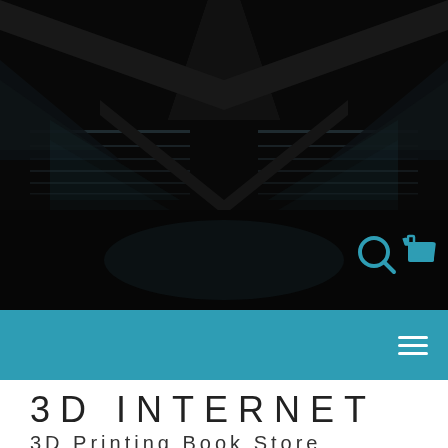[Figure (photo): Dark abstract symmetrical architectural image with reflective surfaces and teal-tinted geometric patterns on a black background. Search and cart icons visible in lower right.]
[Figure (other): Teal navigation bar with hamburger menu icon on the right side.]
3D INTERNET
3D Printing Book Store